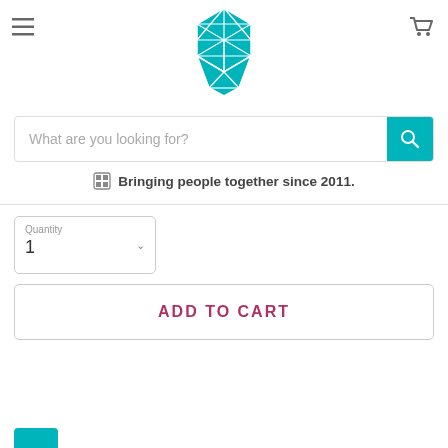[Figure (logo): Teal geometric icosahedron logo centered in header]
[Figure (other): Hamburger menu icon (three horizontal lines) at top left]
[Figure (other): Shopping cart icon at top right]
What are you looking for?
Bringing people together since 2011.
Quantity
1
ADD TO CART